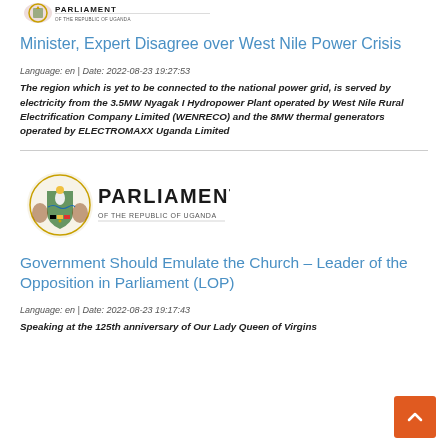[Figure (logo): Parliament of the Republic of Uganda logo/seal at top of page (partially visible)]
Minister, Expert Disagree over West Nile Power Crisis
Language: en | Date: 2022-08-23 19:27:53
The region which is yet to be connected to the national power grid, is served by electricity from the 3.5MW Nyagak I Hydropower Plant operated by West Nile Rural Electrification Company Limited (WENRECO) and the 8MW thermal generators operated by ELECTROMAXX Uganda Limited
[Figure (logo): Parliament of the Republic of Uganda logo with text PARLIAMENT OF THE REPUBLIC OF UGANDA]
Government Should Emulate the Church – Leader of the Opposition in Parliament (LOP)
Language: en | Date: 2022-08-23 19:17:43
Speaking at the 125th anniversary of Our Lady Queen of Virgins